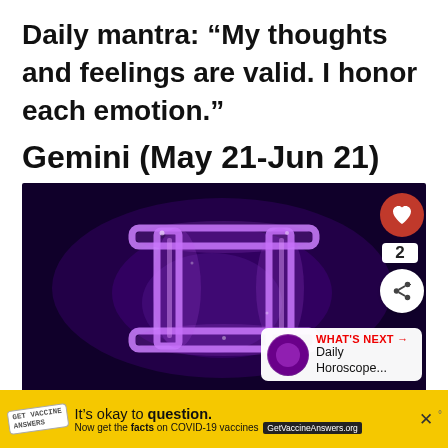Daily mantra: “My thoughts and feelings are valid. I honor each emotion.”
Gemini (May 21-Jun 21)
[Figure (illustration): Gemini zodiac symbol rendered in glowing purple light/smoke on a dark purple/black background. Overlaid UI elements include a red heart/like button, a count of 2, a share button, and a 'What's Next → Daily Horoscope...' overlay in bottom right.]
[Figure (infographic): Yellow advertisement bar: 'It's okay to question. Now get the facts on COVID-19 vaccines GetVaccineAnswers.org' with a stamp logo and close/mute icons.]